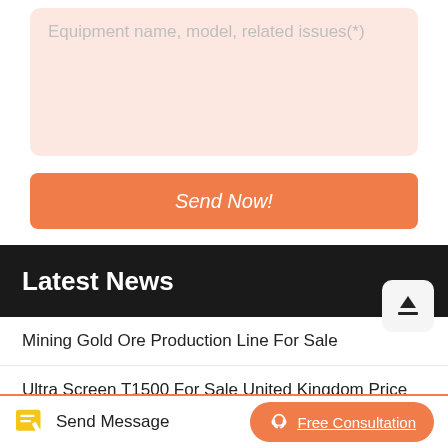Equipment name, model, related issues(*)
Send Now!
Latest News
Mining Gold Ore Production Line For Sale
Ultra Screen T1500 For Sale United Kingdom Price
Send Message
Free Consultation